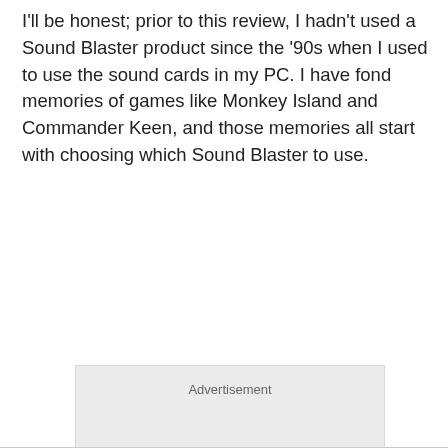I'll be honest; prior to this review, I hadn't used a Sound Blaster product since the '90s when I used to use the sound cards in my PC. I have fond memories of games like Monkey Island and Commander Keen, and those memories all start with choosing which Sound Blaster to use.
[Figure (other): Advertisement placeholder box with gray background and 'Advertisement' label at top center]